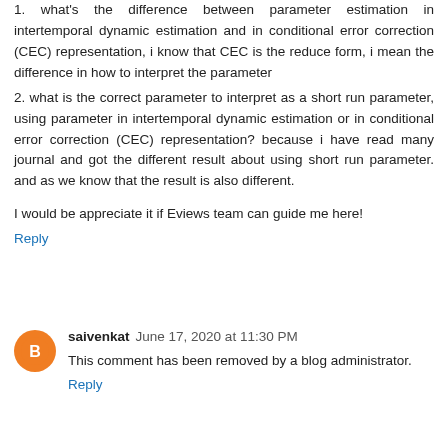1.  what's the difference between parameter estimation in intertemporal dynamic estimation and in conditional error correction (CEC) representation, i know that CEC is the reduce form, i mean the difference in how to interpret the parameter
2.  what is the correct parameter to interpret as a short run parameter, using parameter in intertemporal dynamic estimation or in conditional error correction (CEC) representation? because i have read many journal and got the different result about using short run parameter. and as we know that the result is also different.
I would be appreciate it if Eviews team can guide me here!
Reply
saivenkat  June 17, 2020 at 11:30 PM
This comment has been removed by a blog administrator.
Reply